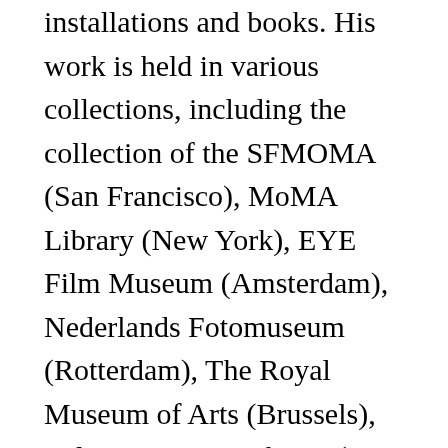installations and books. His work is held in various collections, including the collection of the SFMOMA (San Francisco), MoMA Library (New York), EYE Film Museum (Amsterdam), Nederlands Fotomuseum (Rotterdam), The Royal Museum of Arts (Brussels), Yale University Library (New Haven), and the Getty Research Institute (Los Angeles). During the spring of 2017, Terpstra undertook a Smithsonian Artist Research Fellowship in Washington, D.C. to